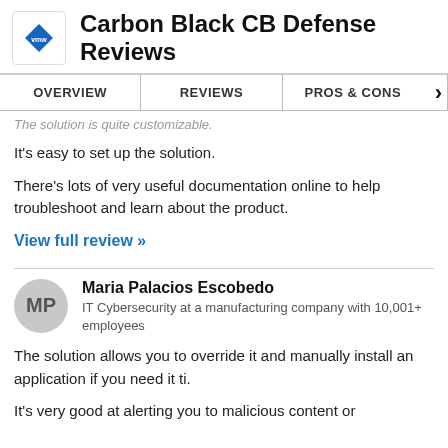Carbon Black CB Defense Reviews
OVERVIEW | REVIEWS | PROS & CONS
The solution is quite customizable.
It's easy to set up the solution.
There's lots of very useful documentation online to help troubleshoot and learn about the product.
View full review »
Maria Palacios Escobedo
IT Cybersecurity at a manufacturing company with 10,001+ employees
The solution allows you to override it and manually install an application if you need it ti.
It's very good at alerting you to malicious content or